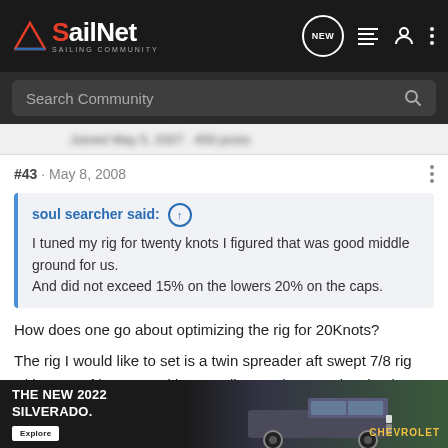SailNet SAILING COMMUNITY
Search Community
#43 · May 8, 2008
soul searcher said: ↑
I tuned my rig for twenty knots I figured that was good middle ground for us.
And did not exceed 15% on the lowers 20% on the caps.
How does one go about optimizing the rig for 20Knots?
The rig I would like to set is a twin spreader aft swept 7/8 rig with a set of lowers and intermediates. The mast is a keel stepped aft in The mast in keel first place at the base can be m
[Figure (screenshot): Advertisement banner for The New 2022 Silverado Chevrolet truck]